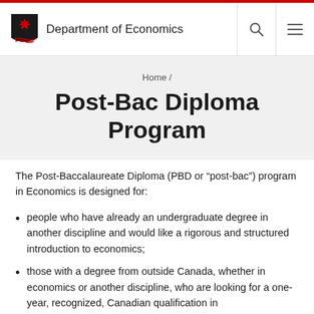Department of Economics
Home /
Post-Bac Diploma Program
The Post-Baccalaureate Diploma (PBD or “post-bac”) program in Economics is designed for:
people who have already an undergraduate degree in another discipline and would like a rigorous and structured introduction to economics;
those with a degree from outside Canada, whether in economics or another discipline, who are looking for a one-year, recognized, Canadian qualification in